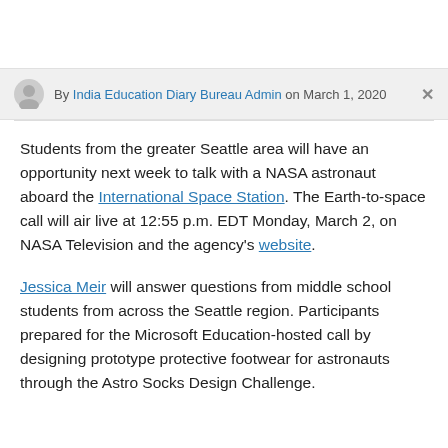By India Education Diary Bureau Admin on March 1, 2020
Students from the greater Seattle area will have an opportunity next week to talk with a NASA astronaut aboard the International Space Station. The Earth-to-space call will air live at 12:55 p.m. EDT Monday, March 2, on NASA Television and the agency's website.
Jessica Meir will answer questions from middle school students from across the Seattle region. Participants prepared for the Microsoft Education-hosted call by designing prototype protective footwear for astronauts through the Astro Socks Design Challenge.